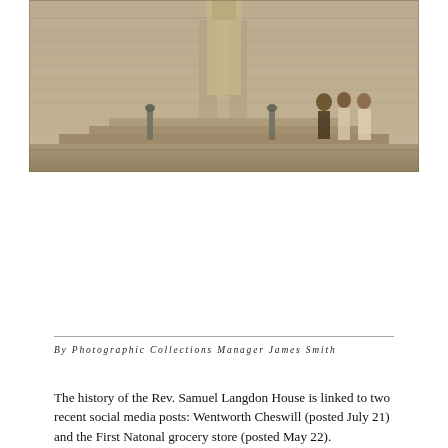[Figure (photo): Sepia-tone historical photograph of people posing in front of a building with columns and steps, likely the Rev. Samuel Langdon House, c. 1940s.]
By Photographic Collections Manager James Smith
The history of the Rev. Samuel Langdon House is linked to two recent social media posts: Wentworth Cheswill (posted July 21) and the First Natonal grocery store (posted May 22). Serendipitously, these two social media posts somewhat bookend the Langdon house's existence in Portsmouth.
The beginning can be traced to about 1749 when master housewright Hopestill Cheswill or Cheswell (also known as Hopestill March) constructed the house on Pleasant Street for the Rev. Samuel Langdon (1723-1797), minister of the Congregational Church (North Church). The house was later the parsonage of the Universalist Church. [Top photo: Unidentified people pose in front of the Rev. Samuel Langdon House, c. 1940s. Courtesy of the South